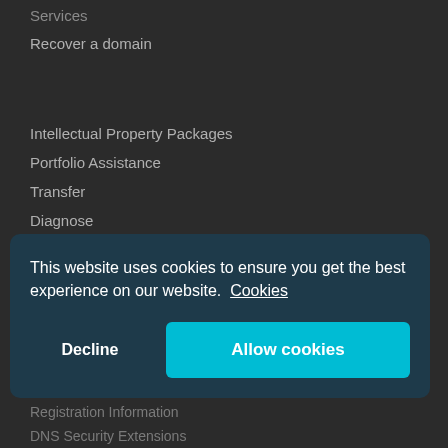Services
Recover a domain
Intellectual Property Packages
Portfolio Assistance
Transfer
Diagnose
Affiliate Scheme
Web Packages
Email Packages
Whois Lookups
Questions Answered
This website uses cookies to ensure you get the best experience on our website. Cookies
Decline
Allow cookies
Registration Information
DNS Security Extensions